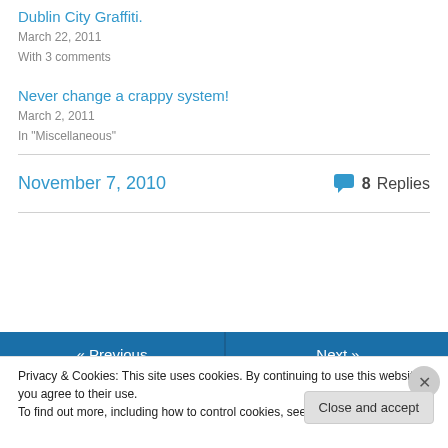Dublin City Graffiti.
March 22, 2011
With 3 comments
Never change a crappy system!
March 2, 2011
In "Miscellaneous"
November 7, 2010
8 Replies
« Previous
Next »
Privacy & Cookies: This site uses cookies. By continuing to use this website, you agree to their use.
To find out more, including how to control cookies, see here: Cookie Policy
Close and accept